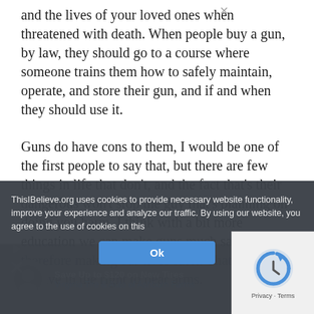and the lives of your loved ones when threatened with death. When people buy a gun, by law, they should go to a course where someone trains them how to safely maintain, operate, and store their gun, and if and when they should use it.
Guns do have cons to them, I would be one of the first people to say that, but there are few things in life that don't, and the fact that's their dangerous won't stop the guy that's planning on doing you harm. I think with a bit more education we can make guns much safer, and therefore making our lives safer. That is why I believe in the right to bear arms.
ThisIBelieve.org uses cookies to provide necessary website functionality, improve your experience and analyze our traffic. By using our website, you agree to the use of cookies on this